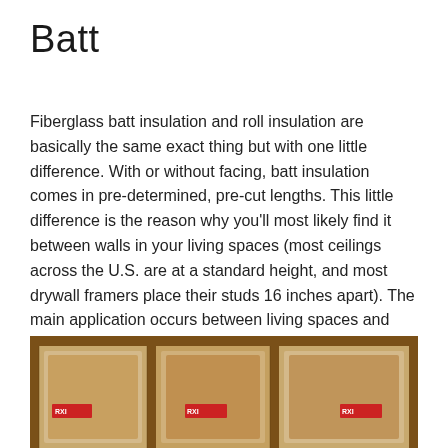Batt
Fiberglass batt insulation and roll insulation are basically the same exact thing but with one little difference. With or without facing, batt insulation comes in pre-determined, pre-cut lengths. This little difference is the reason why you'll most likely find it between walls in your living spaces (most ceilings across the U.S. are at a standard height, and most drywall framers place their studs 16 inches apart). The main application occurs between living spaces and unconditioned areas.
[Figure (photo): Photograph of fiberglass batt insulation installed between wooden studs, showing multiple pink/tan batts with red Owens Corning branding labels visible]